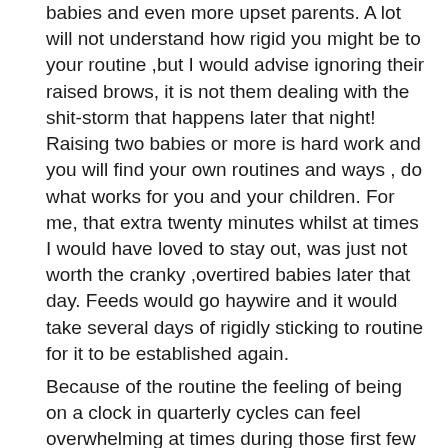babies and even more upset parents. A lot will not understand how rigid you might be to your routine ,but I would advise ignoring their raised brows, it is not them dealing with the shit-storm that happens later that night! Raising two babies or more is hard work and you will find your own routines and ways , do what works for you and your children. For me, that extra twenty minutes whilst at times I would have loved to stay out, was just not worth the cranky ,overtired babies later that day. Feeds would go haywire and it would take several days of rigidly sticking to routine for it to be established again.
Because of the routine the feeling of being on a clock in quarterly cycles can feel overwhelming at times during those first few months. No sooner do